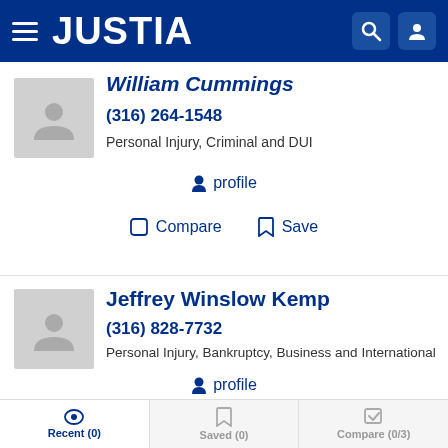JUSTIA
William Cummings
(316) 264-1548
Personal Injury, Criminal and DUI
profile
Compare  Save
Jeffrey Winslow Kemp
(316) 828-7732
Personal Injury, Bankruptcy, Business and International
profile
Compare  Save
Recent (0)  Saved (0)  Compare (0/3)